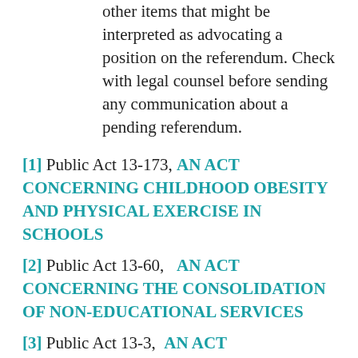other items that might be interpreted as advocating a position on the referendum. Check with legal counsel before sending any communication about a pending referendum.
[1] Public Act 13-173, AN ACT CONCERNING CHILDHOOD OBESITY AND PHYSICAL EXERCISE IN SCHOOLS
[2] Public Act 13-60,  AN ACT CONCERNING THE CONSOLIDATION OF NON-EDUCATIONAL SERVICES
[3] Public Act 13-3,  AN ACT CONCERNING